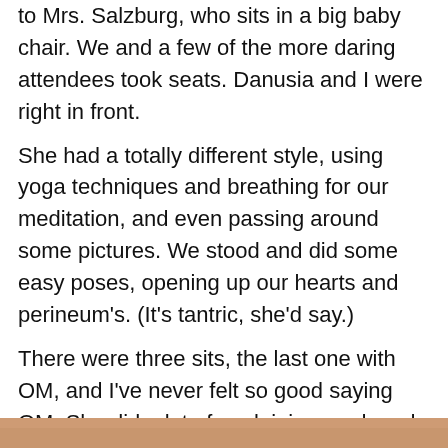to Mrs. Salzburg, who sits in a big baby chair. We and a few of the more daring attendees took seats. Danusia and I were right in front.
She had a totally different style, using yoga techniques and breathing for our meditation, and even passing around some pictures. We stood and did some easy poses, opening up our hearts and perineum's. (It's tantric, she'd say.)
There were three sits, the last one with OM, and I've never felt so good saying OM. She did a lot of explaining, and made me feel comfortable and even entertained.
At some point a ginger cat made an appearance, weaving through the people on the floor. That was entertaining too. The cat jumped up on the platform with Mary, at one point trying to sit in her lap. He was unneutered and looking for spiritual awareness.
[Figure (photo): Partial bottom edge of an image, showing warm brown/orange tones, cropped at the bottom of the page.]